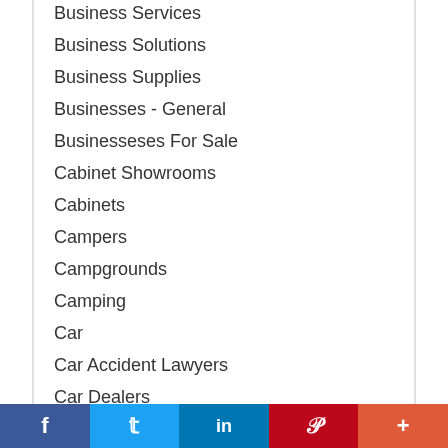Business Services
Business Solutions
Business Supplies
Businesses - General
Businesseses For Sale
Cabinet Showrooms
Cabinets
Campers
Campgrounds
Camping
Car
Car Accident Lawyers
Car Dealers
Car Washes
Facebook | Twitter | LinkedIn | Pinterest | More